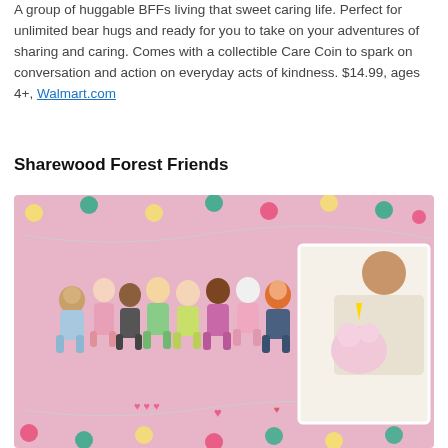A group of huggable BFFs living that sweet caring life. Perfect for unlimited bear hugs and ready for you to take on your adventures of sharing and caring. Comes with a collectible Care Coin to spark on conversation and action on everyday acts of kindness. $14.99, ages 4+, Walmart.com
Sharewood Forest Friends
[Figure (photo): A pink background product photo showing a group of plush rag doll characters from Sharewood Forest Friends lined up together, including animal and human-like dolls, alongside an inset photo of a girl playing with a unicorn plush doll.]